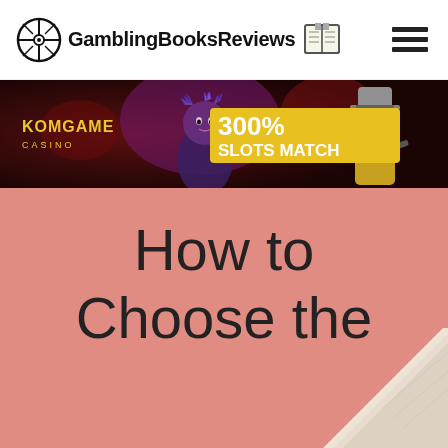GamblingBooksReviews
[Figure (screenshot): Casino advertisement banner: KOMGAME CASINO with '300% SLOTS MATCH' offer on dark red background with cartoon characters]
How to Choose the